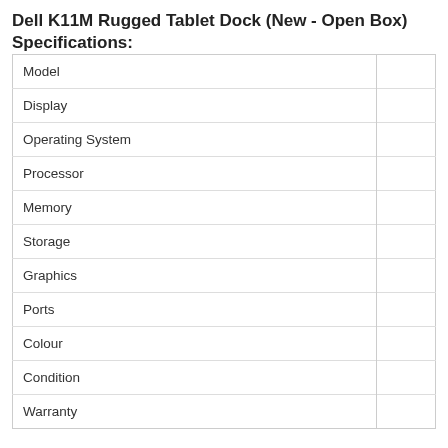Dell K11M Rugged Tablet Dock (New - Open Box) Specifications:
|  |  |
| --- | --- |
| Model |  |
| Display |  |
| Operating System |  |
| Processor |  |
| Memory |  |
| Storage |  |
| Graphics |  |
| Ports |  |
| Colour |  |
| Condition |  |
| Warranty |  |